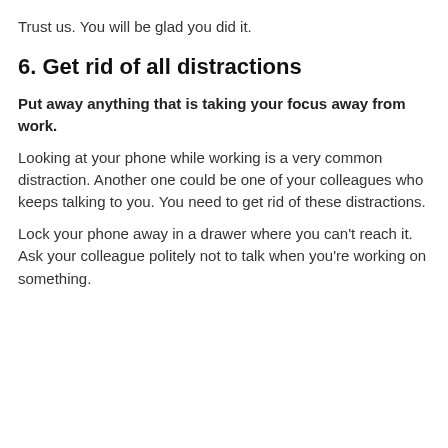out your workplace and make it look nice.
Trust us. You will be glad you did it.
6. Get rid of all distractions
Put away anything that is taking your focus away from work.
Looking at your phone while working is a very common distraction. Another one could be one of your colleagues who keeps talking to you. You need to get rid of these distractions.
Lock your phone away in a drawer where you can't reach it. Ask your colleague politely not to talk when you're working on something.